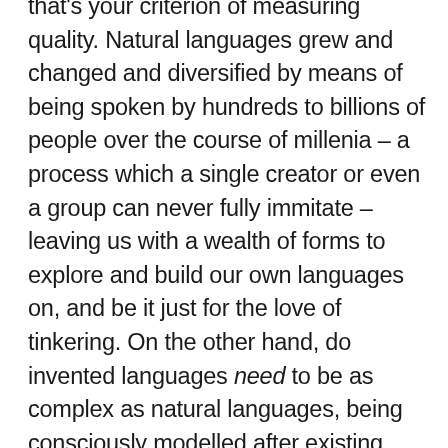that's your criterion of measuring quality. Natural languages grew and changed and diversified by means of being spoken by hundreds to billions of people over the course of millenia – a process which a single creator or even a group can never fully immitate – leaving us with a wealth of forms to explore and build our own languages on, and be it just for the love of tinkering. On the other hand, do invented languages need to be as complex as natural languages, being consciously modelled after existing languages, in